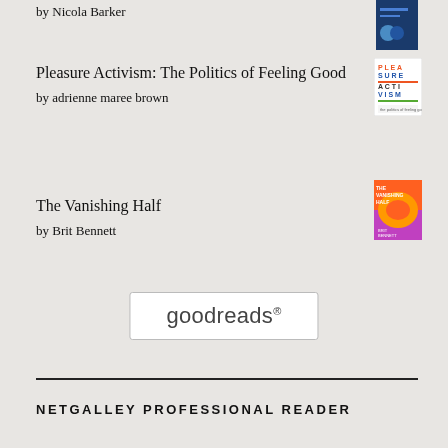by Nicola Barker
[Figure (illustration): Book cover thumbnail - dark blue cover]
Pleasure Activism: The Politics of Feeling Good
by adrienne maree brown
[Figure (illustration): Book cover thumbnail - Pleasure Activism colorful text cover]
The Vanishing Half
by Brit Bennett
[Figure (illustration): Book cover thumbnail - The Vanishing Half colorful cover]
[Figure (logo): goodreads logo in a white rounded rectangle box]
NETGALLEY PROFESSIONAL READER